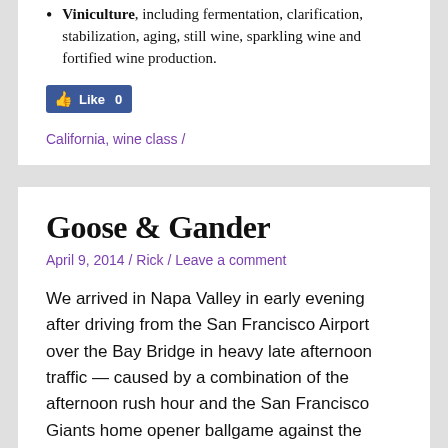Viniculture, including fermentation, clarification, stabilization, aging, still wine, sparkling wine and fortified wine production.
[Figure (other): Facebook Like button showing 0 likes]
California, wine class /
Goose & Gander
April 9, 2014 / Rick / Leave a comment
We arrived in Napa Valley in early evening after driving from the San Francisco Airport over the Bay Bridge in heavy late afternoon traffic — caused by a combination of the afternoon rush hour and the San Francisco Giants home opener ballgame against the Arizona Diamondbacks at AT&T Park (the home team won 7-3). Luckily, we made it to St. Helena